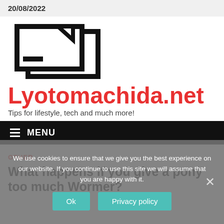20/08/2022
[Figure (logo): Two overlapping rectangular document/window outlines forming a logo icon in black, with a small black rectangle accent]
Lyotomachida.net
Tips for lifestyle, tech and much more!
≡ MENU
OTHER
What happens if you give a pony too much Wormer?
We use cookies to ensure that we give you the best experience on our website. If you continue to use this site we will assume that you are happy with it.